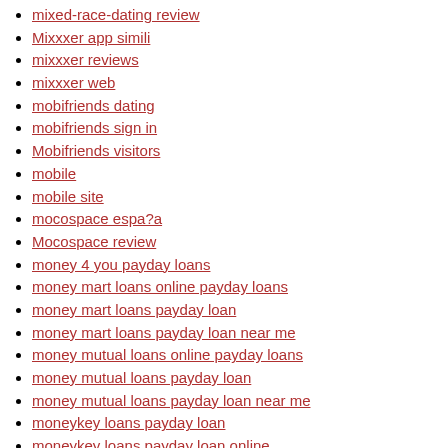mixed-race-dating review
Mixxxer app simili
mixxxer reviews
mixxxer web
mobifriends dating
mobifriends sign in
Mobifriends visitors
mobile
mobile site
mocospace espa?a
Mocospace review
money 4 you payday loans
money mart loans online payday loans
money mart loans payday loan
money mart loans payday loan near me
money mutual loans online payday loans
money mutual loans payday loan
money mutual loans payday loan near me
moneykey loans payday loan
moneykey loans payday loan online
moneykey loans payday loans near me
moneylion loans online payday loan
moneylion loans payday loan
moneylion loans payday loans
moneytree loans payday loan near me